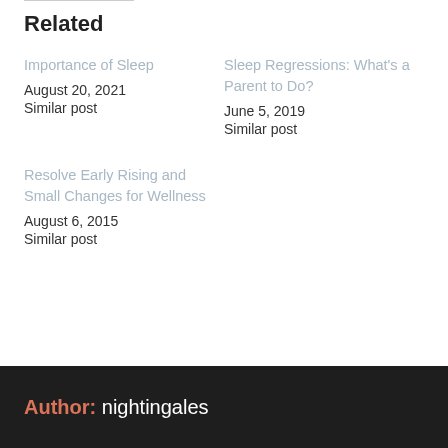Related
Importance of Sleep
August 20, 2021
Similar post
Sleep Regressions: What's a Parent to Do?
June 5, 2019
Similar post
Resolve Early Rising and Small Changes for Wellness
August 6, 2015
Similar post
Author: nightingales